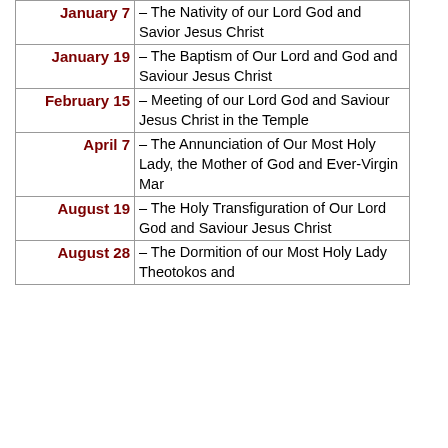| Date | Description |
| --- | --- |
| January 7 | – The Nativity of our Lord God and Savior Jesus Christ |
| January 19 | – The Baptism of Our Lord and God and Saviour Jesus Christ |
| February 15 | – Meeting of our Lord God and Saviour Jesus Christ in the Temple |
| April 7 | – The Annunciation of Our Most Holy Lady, the Mother of God and Ever-Virgin Mar |
| August 19 | – The Holy Transfiguration of Our Lord God and Saviour Jesus Christ |
| August 28 | – The Dormition of our Most Holy Lady Theotokos and |